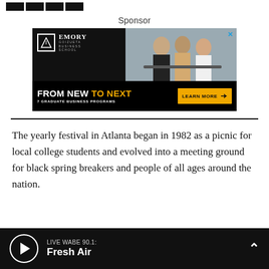[Figure (logo): WABE radio logo blocks (dark squares) at top left]
Sponsor
[Figure (illustration): Emory Goizueta Business School advertisement: FROM NEW TO NEXT, 7 GRADUATE BUSINESS PROGRAMS, LEARN MORE button. Shows people meeting at a table.]
The yearly festival in Atlanta began in 1982 as a picnic for local college students and evolved into a meeting ground for black spring breakers and people of all ages around the nation.
LIVE WABE 90.1: Fresh Air